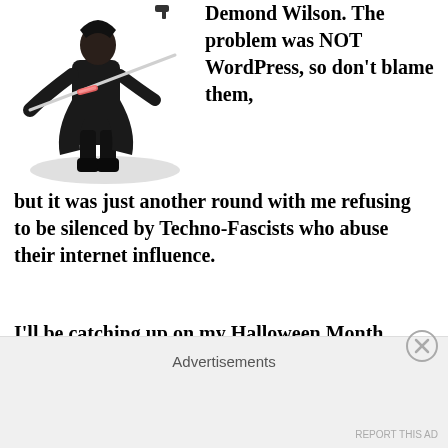[Figure (illustration): A 3D rendered character dressed as a pirate or swashbuckler in dark coat, holding a glowing sword, with a shadow beneath the figure]
Demond Wilson. The problem was NOT WordPress, so don't blame them, but it was just another round with me refusing to be silenced by Techno-Fascists who abuse their internet influence.
I'll be catching up on my Halloween Month posts and other items now that I'm live again, but for right now here's an appropriate rerun of my blog post DYSTOPIA NATION: TECHNO-TYRANTS
Advertisements